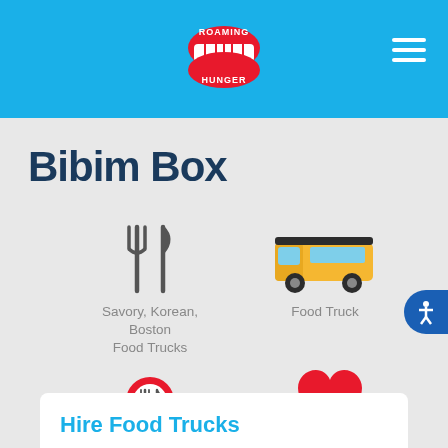[Figure (logo): Roaming Hunger logo with lips/teeth icon and text in white, centered on blue header bar]
Bibim Box
[Figure (illustration): Fork and knife icon (dark gray), with label 'Savory, Korean, Boston Food Trucks']
Savory, Korean, Boston Food Trucks
[Figure (illustration): Yellow food truck illustration with label 'Food Truck']
Food Truck
[Figure (illustration): Red map pin with fork and knife icon, label 'Boston, MA']
Boston, MA
[Figure (illustration): Red heart icon with label '5+ Years on Roaming Hunger']
5+ Years on Roaming Hunger
Hire Food Trucks